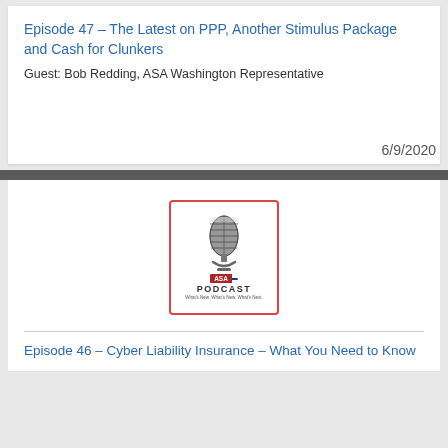Episode 47 – The Latest on PPP, Another Stimulus Package and Cash for Clunkers
Guest: Bob Redding, ASA Washington Representative
6/9/2020
[Figure (logo): ASA Podcast logo with a vintage microphone graphic and text reading ASA PODCAST with tagline What's New. What's Next. What's Next.]
Episode 46 – Cyber Liability Insurance – What You Need to Know